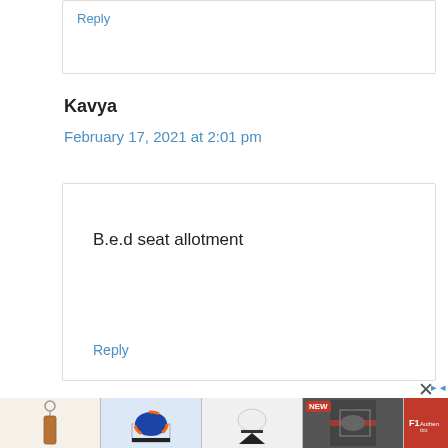Reply
Kavya
February 17, 2021 at 2:01 pm
B.e.d seat allotment
Reply
[Figure (other): Advertisement strip showing product images: keychain, racing helmets in display cases, and F1 Authentics logo with a NEW badge on one item]